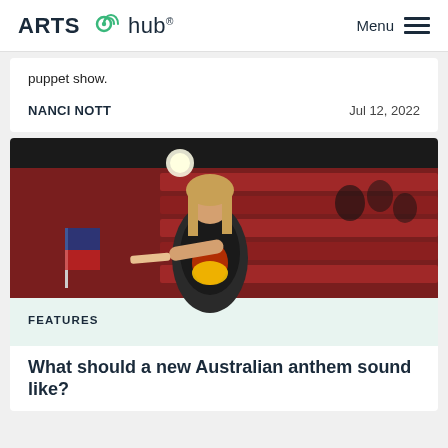ARTS hub® Menu
puppet show.
NANCI NOTT    Jul 12, 2022
[Figure (photo): A woman with tattoos wearing a black t-shirt with an Indigenous Australian design, standing in front of red theatre seats, reaching forward on a stage.]
FEATURES
What should a new Australian anthem sound like?